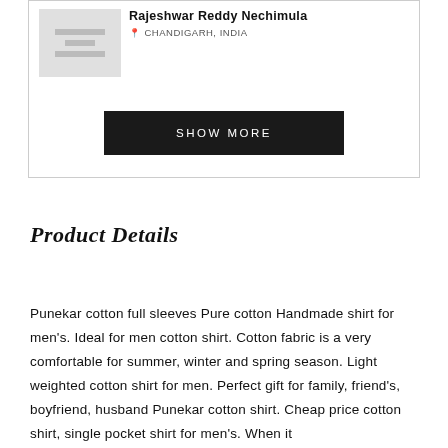[Figure (screenshot): Product card with thumbnail image on the left, seller name 'Rajeshwar Reddy Nechimula' and location 'CHANDIGARH, INDIA' on the right, and a 'SHOW MORE' button at the bottom of the card.]
Product Details
Punekar cotton full sleeves Pure cotton Handmade shirt for men's. Ideal for men cotton shirt. Cotton fabric is a very comfortable for summer, winter and spring season. Light weighted cotton shirt for men. Perfect gift for family, friend's, boyfriend, husband Punekar cotton shirt. Cheap price cotton shirt, single pocket shirt for men's. When it